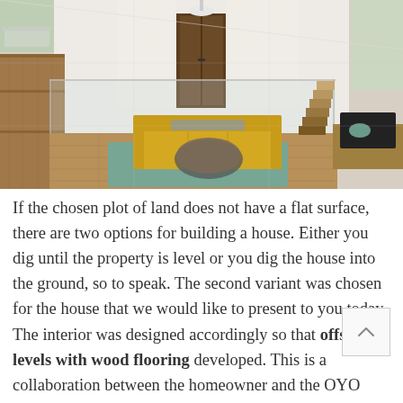[Figure (photo): Interior of a modern house with wood flooring, a yellow sofa, teal rug, glass railing, and open-plan living space with sloped ceiling and natural light.]
If the chosen plot of land does not have a flat surface, there are two options for building a house. Either you dig until the property is level or you dig the house into the ground, so to speak. The second variant was chosen for the house that we would like to present to you today. The interior was designed accordingly so that offset levels with wood flooring developed. This is a collaboration between the homeowner and the OYO company.